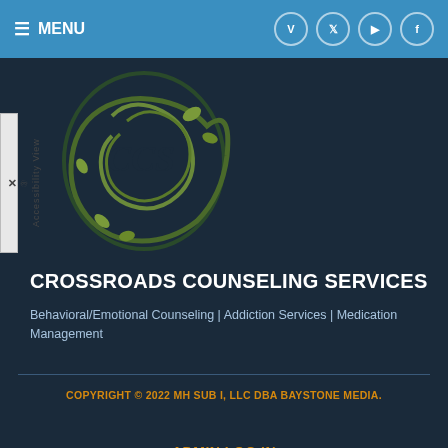MENU
[Figure (logo): Crossroads Counseling Services logo — a stylized brain made of dark green vines and leaves forming the letters CCS]
CROSSROADS COUNSELING SERVICES
Behavioral/Emotional Counseling | Addiction Services | Medication Management
COPYRIGHT © 2022 MH SUB I, LLC DBA BAYSTONE MEDIA.
ADMIN LOG IN